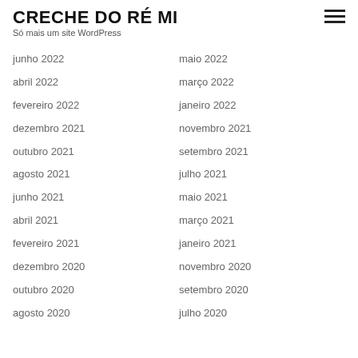CRECHE DO RÉ MI
Só mais um site WordPress
junho 2022
maio 2022
abril 2022
março 2022
fevereiro 2022
janeiro 2022
dezembro 2021
novembro 2021
outubro 2021
setembro 2021
agosto 2021
julho 2021
junho 2021
maio 2021
abril 2021
março 2021
fevereiro 2021
janeiro 2021
dezembro 2020
novembro 2020
outubro 2020
setembro 2020
agosto 2020
julho 2020